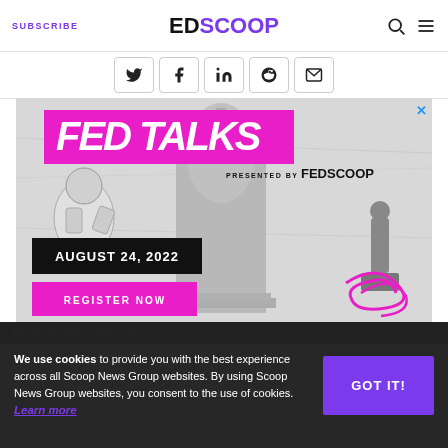SUBSCRIBE | EDSCOOP
[Figure (infographic): Social sharing buttons row: Twitter, Facebook, LinkedIn, Reddit, Email]
[Figure (infographic): FED TALKS advertisement banner presented by FedScoop. Features astronaut, US Capitol, statue images. Date: August 24, 2022. Register Now button. Magenta/pink and black color scheme.]
We use cookies to provide you with the best experience across all Scoop News Group websites. By using Scoop News Group websites, you consent to the use of cookies. Learn more
GOT IT!
July 24, 2021 | EDSCOOP